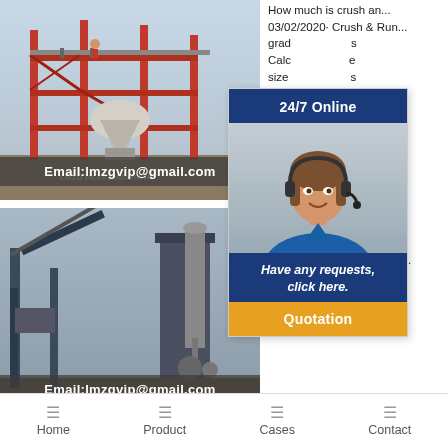[Figure (photo): Industrial crushing/mining machinery with red metal frame structure, workers visible on top, LMZG Heavy Industry watermark]
Email:lmzgvip@gmail.com
[Figure (photo): Industrial milling/grinding facility with large conveyor structures and tower equipment]
Email:lmzgvip@gmail.com
How much is crush an... 03/02/2020· Crush & Run... grad... s... Calc... e... size s... rocks ty... Cru... at... Aggr... p... calcu... o... run i... e... 17 2017 · Crush and run g... because the limestone sti... crusher run
[Figure (infographic): Chat widget with 24/7 Online header, female customer service representative photo, Have any requests, click here. message, and Quotation button]
Home | Product | Cases | Contact